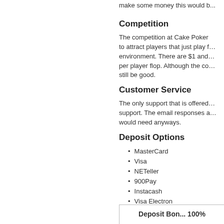make some money this would b...
Competition
The competition at Cake Poker... to attract players that just play f... environment. There are $1 and... per player flop. Although the co... still be good.
Customer Service
The only support that is offered... support. The email responses a... would need anyways.
Deposit Options
MasterCard
Visa
NETeller
900Pay
Instacash
Visa Electron
Deposit Bon... 100%...